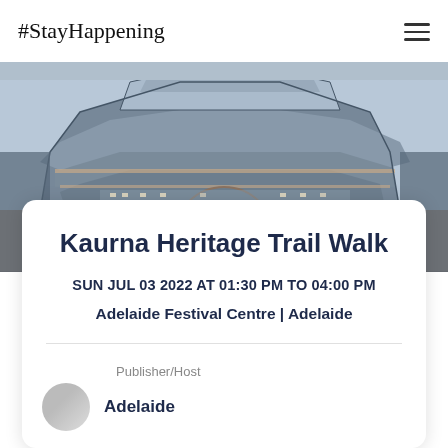#StayHappening
[Figure (photo): Hero image of Adelaide Festival Centre building facade — angular modern architecture with layered concrete overhangs, photographed at dusk with decorative paving visible at the base.]
Kaurna Heritage Trail Walk
SUN JUL 03 2022 AT 01:30 PM TO 04:00 PM
Adelaide Festival Centre | Adelaide
Publisher/Host
Adelaide